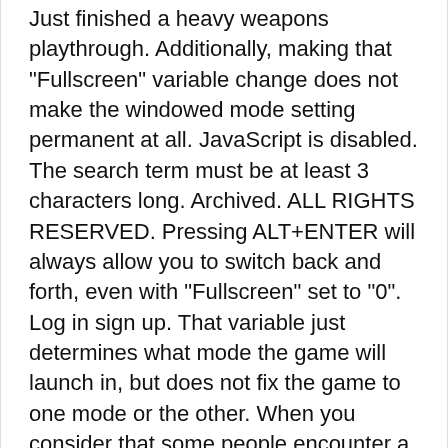Just finished a heavy weapons playthrough. Additionally, making that "Fullscreen" variable change does not make the windowed mode setting permanent at all. JavaScript is disabled. The search term must be at least 3 characters long. Archived. ALL RIGHTS RESERVED. Pressing ALT+ENTER will always allow you to switch back and forth, even with "Fullscreen" set to "0". Log in sign up. That variable just determines what mode the game will launch in, but does not fix the game to one mode or the other. When you consider that some people encounter a bug where the game launches in a window no matter what settings changes you make, you could also just be running into a variation of that bug that just happens to work to your advantage. Knights of Honor moves at a glacial pace in single-player. When Knights of Honor loads you will see which reslution to pick. Once u find the one simply launch the game and it works fine in full screen... You need to do this each